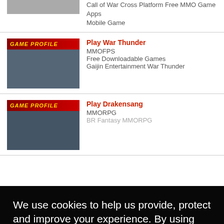[Figure (screenshot): Partial game thumbnail at top of page (Call of War)]
Call of War Cross Platform Free MMO Game Apps Mobile Game
[Figure (screenshot): Game profile image for War Thunder showing tanks and soldiers]
Play War Thunder
MMOFPS
Free Downloadable Games
Gaijin Entertainment War Thunder
[Figure (screenshot): Game profile image for Drakensang]
Play Drakensang
MMORPG
BR Fantasy MMORPG
We use cookies to help us provide, protect and improve your experience. By using this site, you consent to this use. We also show targeted advertisements by sharing your data with our partners so that the ads presented are relevant to you.
Privacy Policy
Decline
Allow cookies